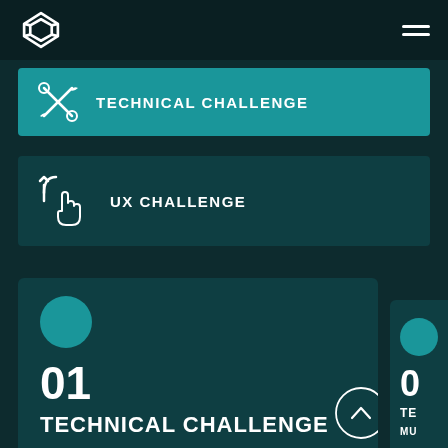[Figure (logo): Diamond chain-link logo icon in white]
TECHNICAL CHALLENGE
UX CHALLENGE
01
TECHNICAL CHALLENGE
ADMINISTRATION / COST
0
TE
MU